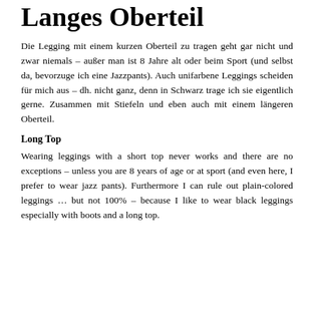Langes Oberteil
Die Legging mit einem kurzen Oberteil zu tragen geht gar nicht und zwar niemals – außer man ist 8 Jahre alt oder beim Sport (und selbst da, bevorzuge ich eine Jazzpants). Auch unifarbene Leggings scheiden für mich aus – dh. nicht ganz, denn in Schwarz trage ich sie eigentlich gerne. Zusammen mit Stiefeln und eben auch mit einem längeren Oberteil.
Long Top
Wearing leggings with a short top never works and there are no exceptions – unless you are 8 years of age or at sport (and even here, I prefer to wear jazz pants). Furthermore I can rule out plain-colored leggings … but not 100% – because I like to wear black leggings especially with boots and a long top.